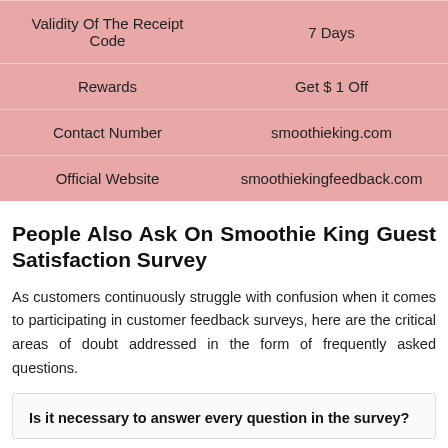|  |  |
| --- | --- |
| Validity Of The Receipt Code | 7 Days |
| Rewards | Get $ 1 Off |
| Contact Number | smoothieking.com |
| Official Website | smoothiekingfeedback.com |
People Also Ask On Smoothie King Guest Satisfaction Survey
As customers continuously struggle with confusion when it comes to participating in customer feedback surveys, here are the critical areas of doubt addressed in the form of frequently asked questions.
Is it necessary to answer every question in the survey?